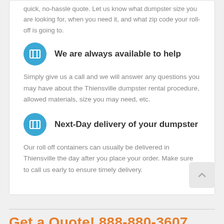quick, no-hassle quote. Let us know what dumpster size you are looking for, when you need it, and what zip code your roll-off is going to.
We are always available to help
Simply give us a call and we will answer any questions you may have about the Thiensville dumpster rental procedure, allowed materials, size you may need, etc.
Next-Day delivery of your dumpster
Our roll off containers can usually be delivered in Thiensville the day after you place your order. Make sure to call us early to ensure timely delivery.
Get a Quote! 888-880-3607